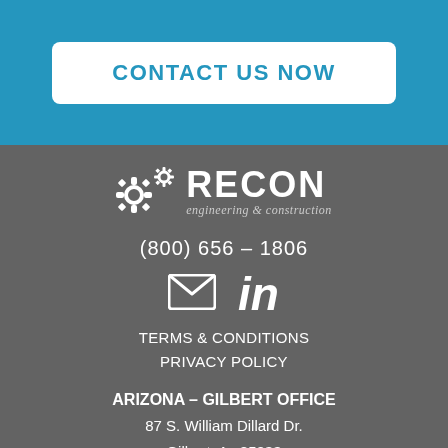CONTACT US NOW
[Figure (logo): RECON engineering & construction logo with gear icons]
(800) 656 – 1806
[Figure (illustration): Email envelope icon and LinkedIn 'in' icon]
TERMS & CONDITIONS
PRIVACY POLICY
ARIZONA – GILBERT OFFICE
87 S. William Dillard Dr.
Gilbert, Az 85233
BEN RIDENOUR